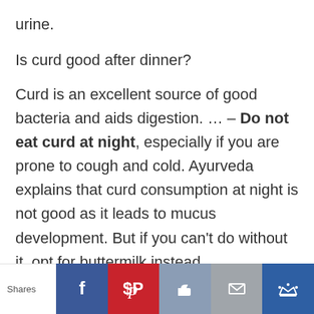urine.
Is curd good after dinner?
Curd is an excellent source of good bacteria and aids digestion. … – Do not eat curd at night, especially if you are prone to cough and cold. Ayurveda explains that curd consumption at night is not good as it leads to mucus development. But if you can't do without it, opt for buttermilk instead.
Shares | Facebook | Pinterest | Like | Mail | Crown